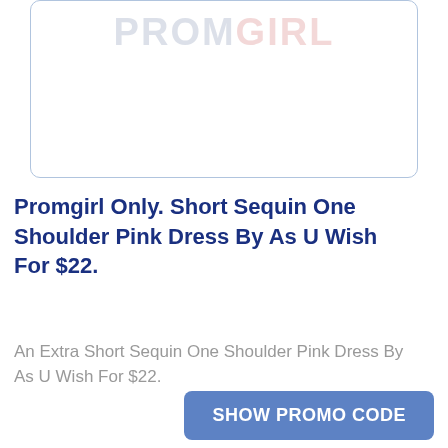[Figure (logo): Promgirl logo inside a rounded rectangle border]
Promgirl Only. Short Sequin One Shoulder Pink Dress By As U Wish For $22.
An Extra Short Sequin One Shoulder Pink Dress By As U Wish For $22.
SHOW PROMO CODE